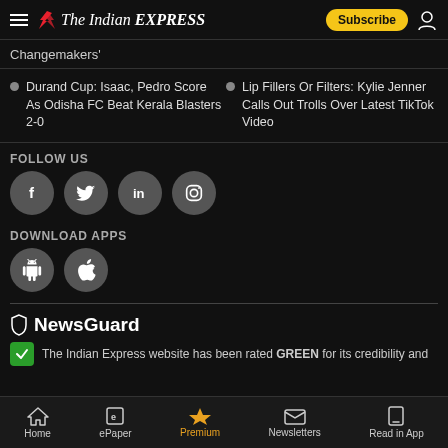The Indian Express — Subscribe
Changemakers'
Durand Cup: Isaac, Pedro Score As Odisha FC Beat Kerala Blasters 2-0
Lip Fillers Or Filters: Kylie Jenner Calls Out Trolls Over Latest TikTok Video
FOLLOW US
[Figure (illustration): Social media icons: Facebook, Twitter, LinkedIn, Instagram]
DOWNLOAD APPS
[Figure (illustration): App download icons: Android and Apple]
[Figure (logo): NewsGuard logo with shield icon]
The Indian Express website has been rated GREEN for its credibility and
Home | ePaper | Premium | Newsletters | Read in App